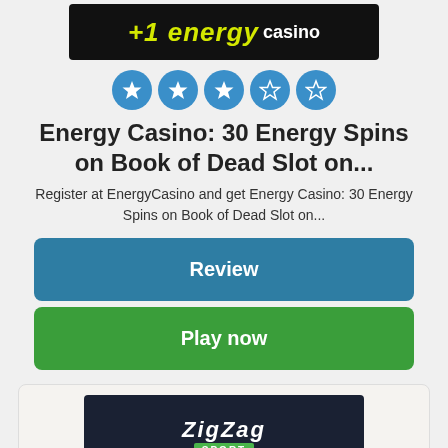[Figure (logo): Energy Casino logo on black background with yellow/green text and 'casino' label]
[Figure (other): Five star rating circles in teal/blue: 3 filled stars and 2 empty stars]
Energy Casino: 30 Energy Spins on Book of Dead Slot on...
Register at EnergyCasino and get Energy Casino: 30 Energy Spins on Book of Dead Slot on...
Review
Play now
[Figure (logo): ZigZag Sport logo on dark navy background with italic script text and green SPORT badge]